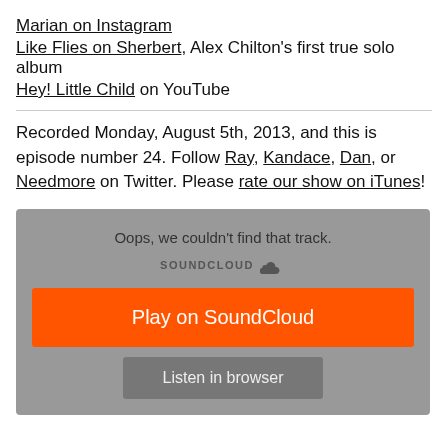Marian on Instagram
Like Flies on Sherbert, Alex Chilton's first true solo album
Hey! Little Child on YouTube
Recorded Monday, August 5th, 2013, and this is episode number 24. Follow Ray, Kandace, Dan, or Needmore on Twitter. Please rate our show on iTunes!
[Figure (screenshot): SoundCloud embedded player showing error: 'Oops, we couldn't find that track.' with SOUNDCLOUD logo, orange Play on SoundCloud button, and grey Listen in browser button]